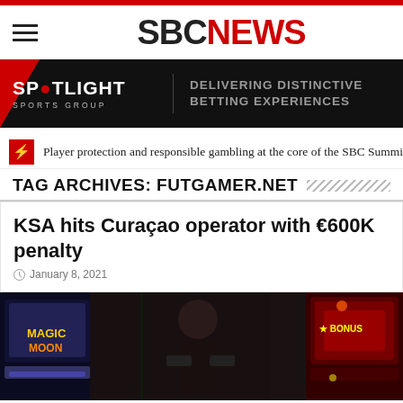SBC NEWS
[Figure (logo): Spotlight Sports Group banner — Delivering Distinctive Betting Experiences]
Player protection and responsible gambling at the core of the SBC Summit Ba
TAG ARCHIVES: FUTGAMER.NET
KSA hits Curaçao operator with €600K penalty
January 8, 2021
[Figure (photo): Person sitting in front of casino slot machines including Magic Moon]